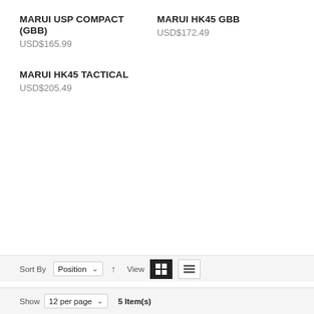MARUI USP COMPACT (GBB)
USD$165.99
MARUI HK45 GBB
USD$172.49
MARUI HK45 TACTICAL
USD$205.49
Sort By Position ↑ View | Show 12 per page ∨ 5 Item(s)